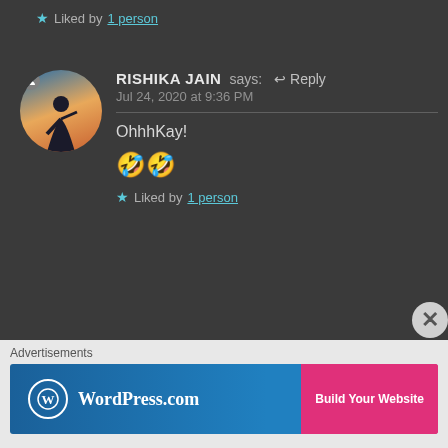🤣🤣 Liked by 1 person
[Figure (photo): Avatar photo of Rishika Jain — silhouette of a person against a sunset gradient background]
RISHIKA JAIN says: ↩ Reply
Jul 24, 2020 at 9:36 PM
OhhhKay!
🤣🤣
★ Liked by 1 person
Advertisements
[Figure (screenshot): WordPress.com advertisement banner with Build Your Website button]